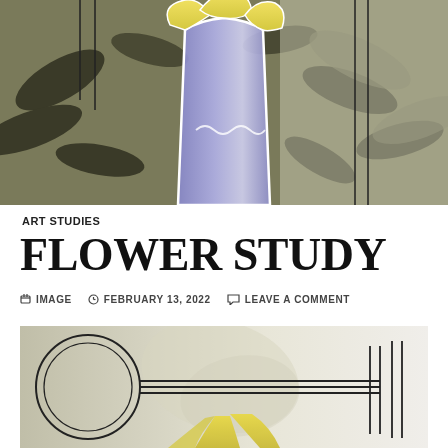[Figure (illustration): Digital illustration of a yellow flower being held in a purple/blue vase-like form, with decorative dark leaf silhouettes and geometric line patterns in the background. Muted olive and grey tones.]
ART STUDIES
FLOWER STUDY
IMAGE  ⊙ FEBRUARY 13, 2022  💬 LEAVE A COMMENT
[Figure (illustration): Digital illustration showing a large circular geometric element on the left with concentric circles, horizontal parallel lines extending right, and vertical parallel lines on the right side. Yellow flower petals visible at bottom center. Background is light beige/cream with faint leaf shapes.]